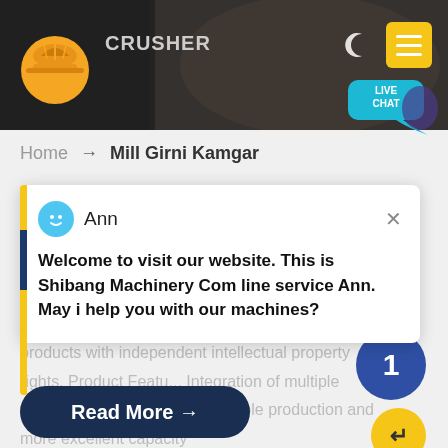[Figure (screenshot): Website header banner with dark background showing industrial crusher machinery, company logo (orange hard hat icon), text 'CRUSHER', moon/night mode icon, and yellow hamburger menu button]
[Figure (infographic): Teal 'LIVE CHAT' speech bubble in top right area of header]
Home → Mill Girni Kamgar
[Figure (screenshot): Live chat popup card with blue avatar icon for agent 'Ann' and message: Welcome to visit our website. This is Shibang Machinery Com line service Ann. May i help you with our machines?]
We have successively launched vertical mill products with independent intellectual property rights. Product Featu... Integration of multiple functions, more stable and reliable production and more excellent capacity
[Figure (infographic): Blue circle badge with number 1 and yellow circle with down arrow]
Read More →